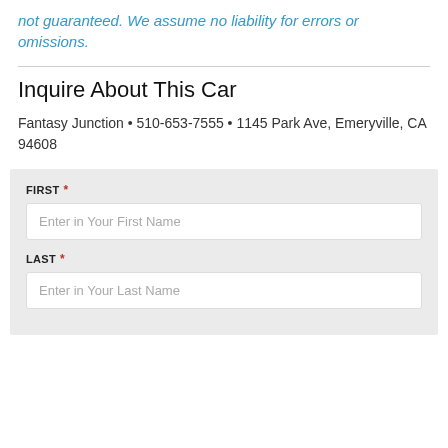not guaranteed. We assume no liability for errors or omissions.
Inquire About This Car
Fantasy Junction • 510-653-7555 • 1145 Park Ave, Emeryville, CA 94608
FIRST * — input placeholder: Enter in Your First Name
LAST * — input placeholder: Enter in Your Last Name